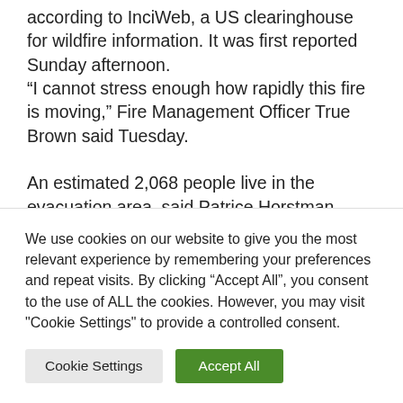according to InciWeb, a US clearinghouse for wildfire information. It was first reported Sunday afternoon. “I cannot stress enough how rapidly this fire is moving,” Fire Management Officer True Brown said Tuesday.

An estimated 2,068 people live in the evacuation area, said Patrice Horstman,
We use cookies on our website to give you the most relevant experience by remembering your preferences and repeat visits. By clicking “Accept All”, you consent to the use of ALL the cookies. However, you may visit "Cookie Settings" to provide a controlled consent.